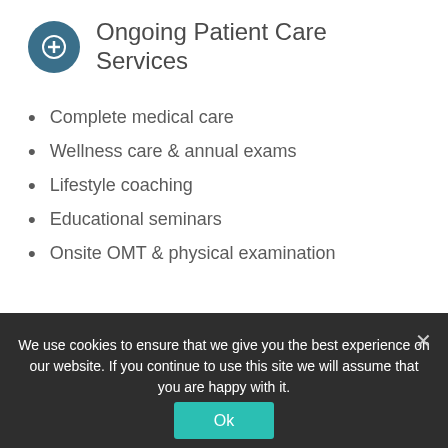Ongoing Patient Care Services
Complete medical care
Wellness care & annual exams
Lifestyle coaching
Educational seminars
Onsite OMT & physical examination
The Osteopathic Oath
“...keeping in mind always nature’s laws and the body’s inherent capacity for recovery.”
We use cookies to ensure that we give you the best experience on our website. If you continue to use this site we will assume that you are happy with it.